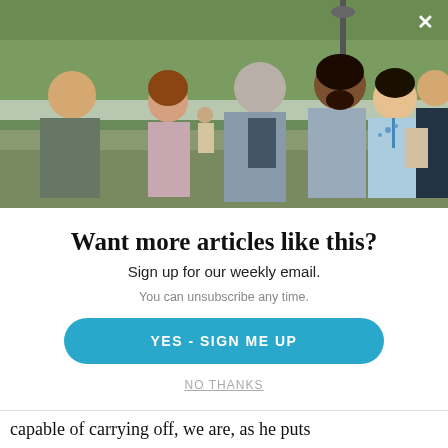[Figure (photo): Group of people having a conversation outdoors in a park setting, green trees in background, overcast sky, diverse group of adults standing and talking]
Want more articles like this?
Sign up for our weekly email.
You can unsubscribe any time.
YES - SIGN ME UP
NO THANKS
capable of carrying off, we are, as he puts